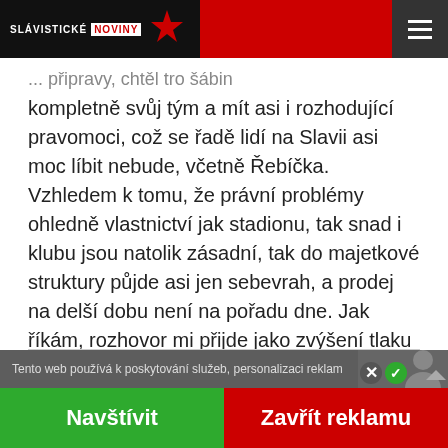SLÁVISTICKÉ NOVINY
kompletně svůj tým a mít asi i rozhodující pravomoci, což se řadě lidí na Slavii asi moc líbit nebude, včetně Řebíčka. Vzhledem k tomu, že právní problémy ohledně vlastnictví jak stadionu, tak snad i klubu jsou natolik zásadní, tak do majetkové struktury půjde asi jen sebevrah, a prodej na delší dobu není na pořadu dne. Jak říkám, rozhovor mi přijde jako zvýšení tlaku na Řebíčka a odhadl bych, že se do začátku jara něco zásadního stane, nebo se nestane vůbec nic :-)
Tento web používá k poskytování služeb, personalizaci reklam
Navštívit | Zavřít reklamu